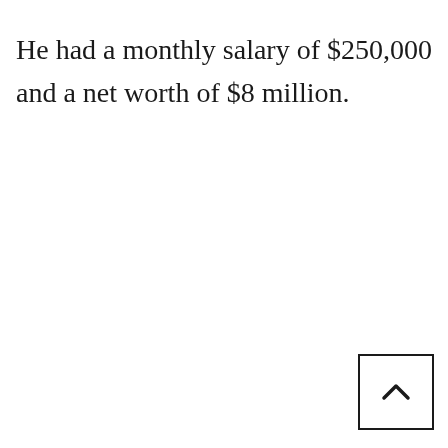He had a monthly salary of $250,000 and a net worth of $8 million.
[Figure (other): Navigation button with upward chevron arrow for scrolling to top of page]